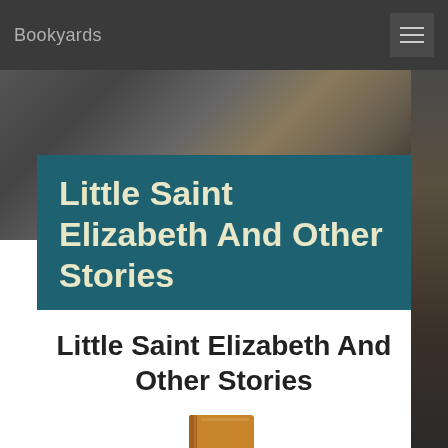Bookyards
[Figure (screenshot): Hero background image: dark blurred background with bokeh effect, dark grays and warm browns]
Little Saint Elizabeth And Other Stories
Little Saint Elizabeth And Other Stories
[Figure (photo): Partial view of a brown/tan book at the bottom of the page]